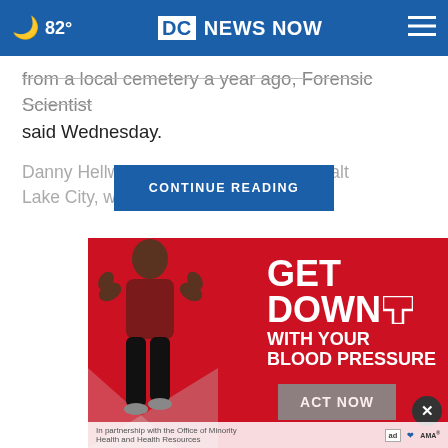82° DC NEWS NOW
...from a local cemetery a year ago, Forensic Scientist said Wednesday.
Danny Hellwig ...asics in Salt Lake City, whi... ...told The
CONTINUE READING
[Figure (photo): Advertisement: 'GET DOWN WITH YOUR BLOOD PRESSURE' featuring a woman flexing. Red background. ACT NOW button. In partnership with the Office of Minority Health and Health Resources. Ad tag and AMA logo visible.]